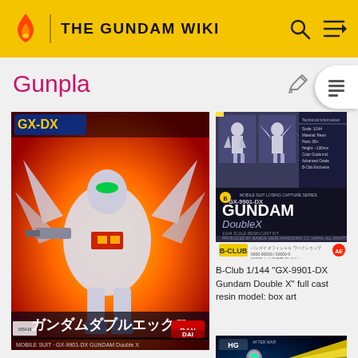THE GUNDAM WIKI
Gunpla
[Figure (illustration): Gundam Double X model kit box art showing a mecha robot with wings against an orange/red explosion background, with Japanese text ガンダムダブルエックス and BANDAI logo at bottom]
[Figure (photo): B-Club 1/144 GX-9901-DX Gundam Double X full cast resin model box art showing multiple views of the model kit]
B-Club 1/144 "GX-9901-DX Gundam Double X" full cast resin model: box art
[Figure (illustration): HG After War Gundam box art showing a mecha with yellow wings/boosters in space]